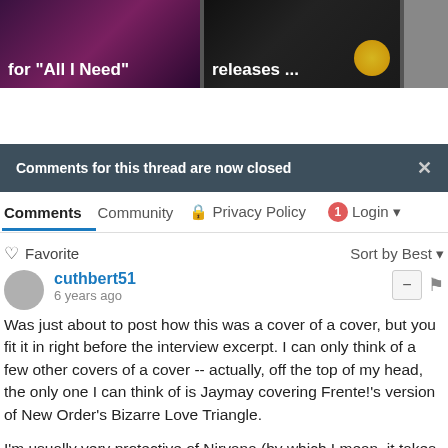[Figure (screenshot): Two thumbnail cards: first with purple background showing text 'for "All I Need"', second with dark background showing text 'releases ...', third partially visible grey card]
Comments for this thread are now closed
Comments   Community   🔒 Privacy Policy   1 Login ▾
♡ Favorite   Sort by Best ▾
cuthbert51
6 years ago
Was just about to post how this was a cover of a cover, but you fit it in right before the interview excerpt. I can only think of a few other covers of a cover -- actually, off the top of my head, the only one I can think of is Jaymay covering Frente!'s version of New Order's Bizarre Love Triangle.

I'm usually very protective of Nirvana (by which I mean, it takes something being pretty damn amazing for me to say "OK, that was